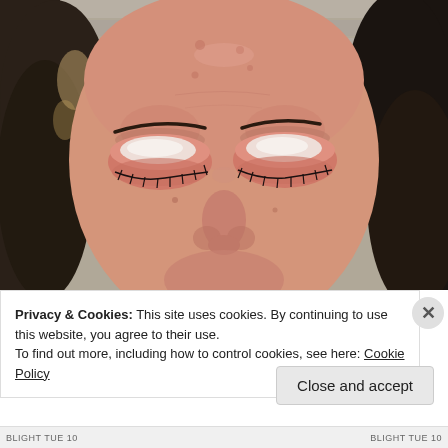[Figure (illustration): Close-up hyperrealistic painting or photograph of a woman's face with closed eyes, showing reddened and swollen eyelids with a white creamy substance applied to the eye area. The woman has dark curly hair with some lighter highlights. The skin shows redness, spots, and texture detail. Background is a light wood or wall surface.]
Privacy & Cookies: This site uses cookies. By continuing to use this website, you agree to their use.
To find out more, including how to control cookies, see here: Cookie Policy
Close and accept
BLIGHT TUE 10